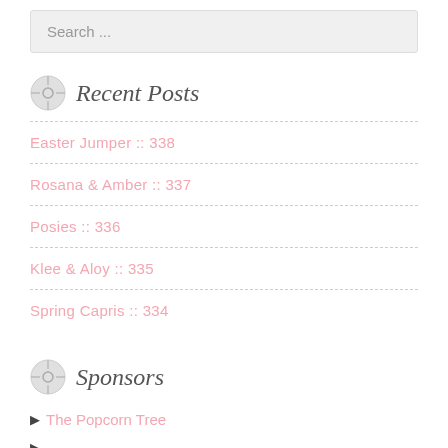Search ...
Recent Posts
Easter Jumper :: 338
Rosana & Amber :: 337
Posies :: 336
Klee & Aloy :: 335
Spring Capris :: 334
Sponsors
The Popcorn Tree